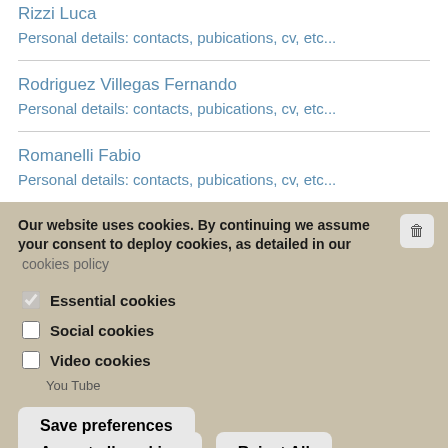Rizzi Luca
Personal details: contacts, pubications, cv, etc...
Rodriguez Villegas Fernando
Personal details: contacts, pubications, cv, etc...
Romanelli Fabio
Personal details: contacts, pubications, cv, etc...
Our website uses cookies. By continuing we assume your consent to deploy cookies, as detailed in our cookies policy
Essential cookies
Social cookies
Video cookies
You Tube
Save preferences
Accept all cookies
Reject All